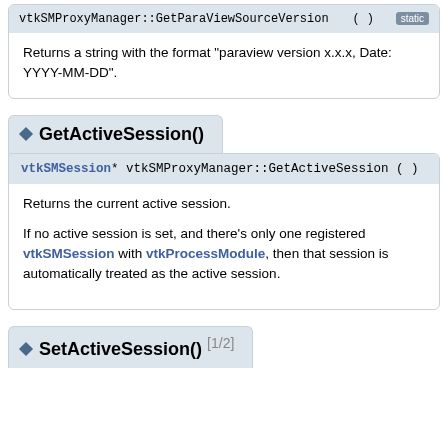vtkSMProxyManager::GetParaViewSourceVersion ( ) static
Returns a string with the format "paraview version x.x.x, Date: YYYY-MM-DD".
◆ GetActiveSession()
vtkSMSession* vtkSMProxyManager::GetActiveSession ( )
Returns the current active session.
If no active session is set, and there's only one registered vtkSMSession with vtkProcessModule, then that session is automatically treated as the active session.
◆ SetActiveSession() [1/2]